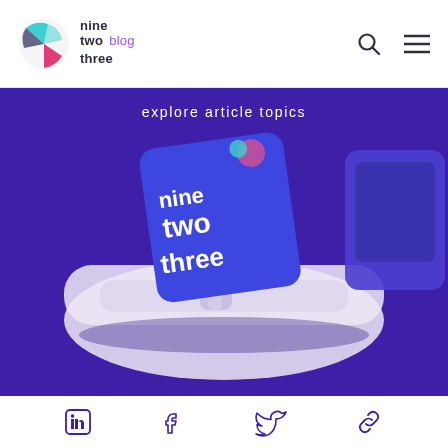nine two three blog
explore article topics
[Figure (illustration): Isometric illustration of a laptop/device on a white rounded base with 'nine two three' branding shown on screen, on a dark purple background]
Social media icons: LinkedIn, Facebook, Twitter, Link